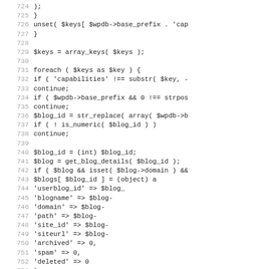[Figure (screenshot): Source code listing in monospace font showing PHP code lines 724-755, with line numbers on the left in gray and code on the right in dark text. The code shows array manipulation and foreach loop logic for WordPress blog capabilities.]